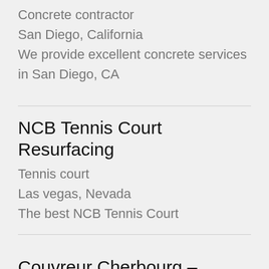Concrete contractor
San Diego, California
We provide excellent concrete services in San Diego, CA
NCB Tennis Court Resurfacing
Tennis court
Las vegas, Nevada
The best NCB Tennis Court
Couvreur Cherbourg – CHERBOURG TOITURE
Roofing contractor
Cherbourg-en-Cotentin, Normandy